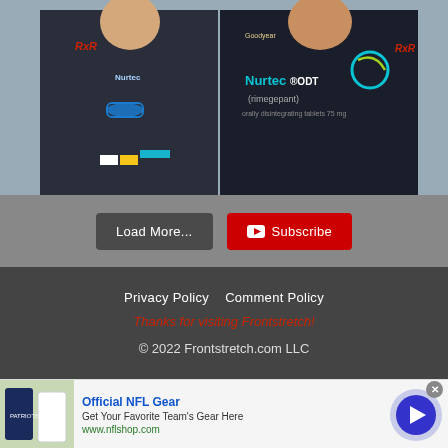[Figure (photo): Two men standing outdoors wearing dark racing/Nurtec ODT branded shirts. One has blue sunglasses around his neck. The right person's shirt has Nurtec ODT (rimegepant) orally disintegrating tablets 75 mg branding.]
Load More...
Subscribe
Privacy Policy    Comment Policy
Thanks for visiting Frontstretch!
© 2022 Frontstretch.com LLC
[Figure (photo): Advertisement: Official NFL Gear - Get Your Favorite Team's Gear Here - www.nflshop.com. Shows Patriots jerseys image on left and a circular arrow button on right.]